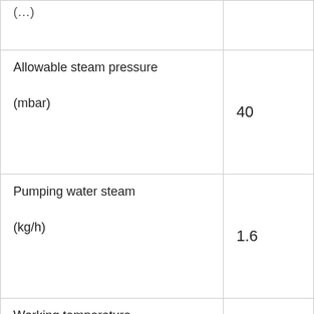| (...) |  |
| Allowable steam pressure
(mbar) | 40 |
| Pumping water steam
(kg/h) | 1.6 |
| Working temperature
(°C) | 84 |